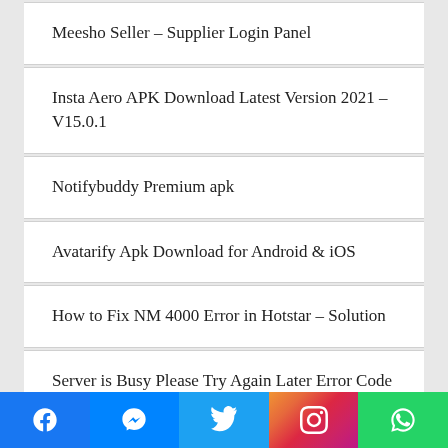Meesho Seller – Supplier Login Panel
Insta Aero APK Download Latest Version 2021 – V15.0.1
Notifybuddy Premium apk
Avatarify Apk Download for Android & iOS
How to Fix NM 4000 Error in Hotstar – Solution
Server is Busy Please Try Again Later Error Code Restrict Area Pubg Mobile
Network Error Login Failed Pubg Mobile Kr – Solution – How to Fix it